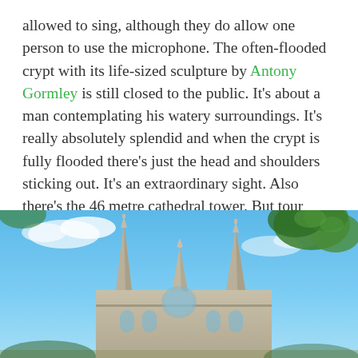allowed to sing, although they do allow one person to use the microphone. The often-flooded crypt with its life-sized sculpture by Antony Gormley is still closed to the public. It's about a man contemplating his watery surroundings. It's really absolutely splendid and when the crypt is fully flooded there's just the head and shoulders sticking out. It's an extraordinary sight. Also there's the 46 metre cathedral tower. But tour guides are still on hand in the nave, happy to tell socially-distanced visitors a bit about its history.
[Figure (photo): Upward-looking photograph of a Gothic cathedral with pointed spires against a bright blue sky, with green tree branches visible in the upper right corner.]